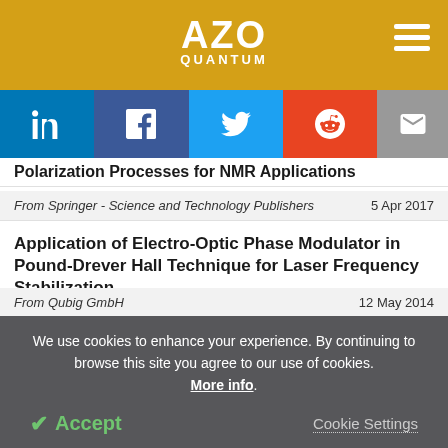AZO QUANTUM
Polarization Processes for NMR Applications
From Springer - Science and Technology Publishers   5 Apr 2017
Application of Electro-Optic Phase Modulator in Pound-Drever Hall Technique for Laser Frequency Stabilization
From Qubig GmbH   12 May 2014
We use cookies to enhance your experience. By continuing to browse this site you agree to our use of cookies. More info.
Accept   Cookie Settings